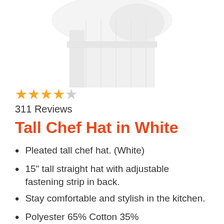[Figure (photo): White tall chef hat on white background, cropped view showing the top portion of the hat]
[Figure (other): 4 out of 5 stars rating shown as gold star icons]
311 Reviews
Tall Chef Hat in White
Pleated tall chef hat. (White)
15" tall straight hat with adjustable fastening strip in back.
Stay comfortable and stylish in the kitchen.
Polyester 65% Cotton 35% Imported